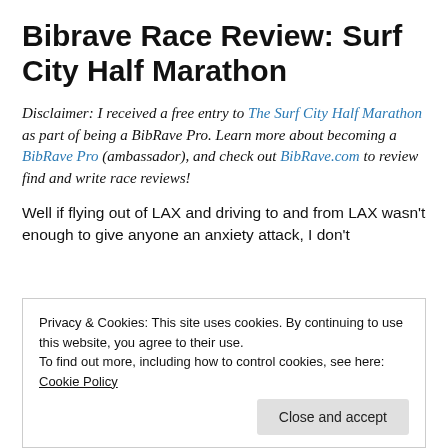Bibrave Race Review: Surf City Half Marathon
Disclaimer: I received a free entry to The Surf City Half Marathon as part of being a BibRave Pro. Learn more about becoming a BibRave Pro (ambassador), and check out BibRave.com to review find and write race reviews!
Well if flying out of LAX and driving to and from LAX wasn't enough to give anyone an anxiety attack, I don't
Privacy & Cookies: This site uses cookies. By continuing to use this website, you agree to their use.
To find out more, including how to control cookies, see here: Cookie Policy
I flew out Friday morning, a rare direct flight from Spokane